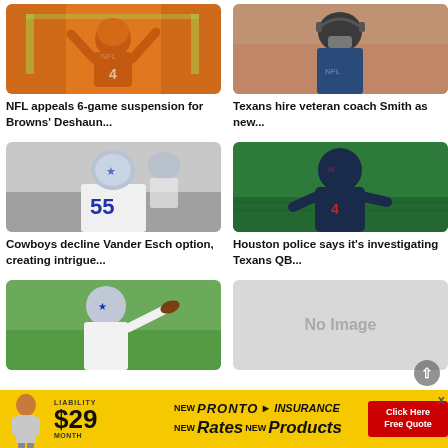[Figure (photo): NFL player in orange jersey #4 with arms raised at practice]
NFL appeals 6-game suspension for Browns' Deshaun...
[Figure (photo): Texans coach wearing mask and headset on sideline]
Texans hire veteran coach Smith as new...
[Figure (photo): Dallas Cowboys player wearing #55 jersey in white uniform]
Cowboys decline Vander Esch option, creating intrigue...
[Figure (photo): Texans QB #4 in dark hoodie on football field]
Houston police says it's investigating Texans QB...
[Figure (photo): Dallas Cowboys QB throwing pass in white Cowboys uniform]
[Figure (photo): No Image placeholder]
[Figure (infographic): Pronto Insurance advertisement banner: Liability $29/month NEW Rates NEW Products, Click Here Free Quote]